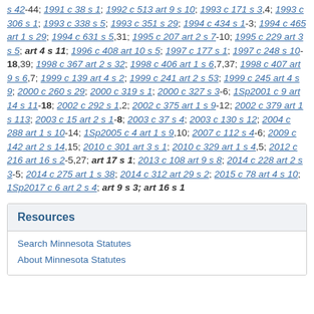s 42-44; 1991 c 38 s 1; 1992 c 513 art 9 s 10; 1993 c 171 s 3,4; 1993 c 306 s 1; 1993 c 338 s 5; 1993 c 351 s 29; 1994 c 434 s 1-3; 1994 c 465 art 1 s 29; 1994 c 631 s 5,31; 1995 c 207 art 2 s 7-10; 1995 c 229 art 3 s 5; art 4 s 11; 1996 c 408 art 10 s 5; 1997 c 177 s 1; 1997 c 248 s 10-18,39; 1998 c 367 art 2 s 32; 1998 c 406 art 1 s 6,7,37; 1998 c 407 art 9 s 6,7; 1999 c 139 art 4 s 2; 1999 c 241 art 2 s 53; 1999 c 245 art 4 s 9; 2000 c 260 s 29; 2000 c 319 s 1; 2000 c 327 s 3-6; 1Sp2001 c 9 art 14 s 11-18; 2002 c 292 s 1,2; 2002 c 375 art 1 s 9-12; 2002 c 379 art 1 s 113; 2003 c 15 art 2 s 1-8; 2003 c 37 s 4; 2003 c 130 s 12; 2004 c 288 art 1 s 10-14; 1Sp2005 c 4 art 1 s 9,10; 2007 c 112 s 4-6; 2009 c 142 art 2 s 14,15; 2010 c 301 art 3 s 1; 2010 c 329 art 1 s 4,5; 2012 c 216 art 16 s 2-5,27; art 17 s 1; 2013 c 108 art 9 s 8; 2014 c 228 art 2 s 3-5; 2014 c 275 art 1 s 38; 2014 c 312 art 29 s 2; 2015 c 78 art 4 s 10; 1Sp2017 c 6 art 2 s 4; art 9 s 3; art 16 s 1
Resources
Search Minnesota Statutes
About Minnesota Statutes